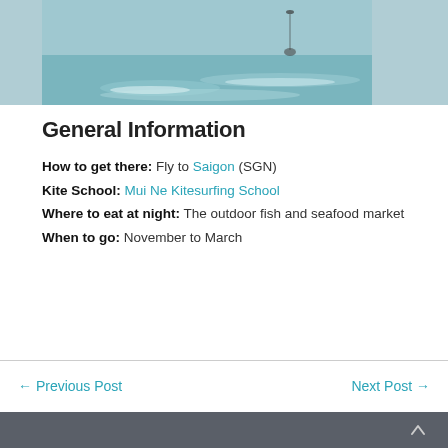[Figure (photo): Photo of a kite surfer on the ocean/sea with waves, partial view at the top of the page]
General Information
How to get there: Fly to Saigon (SGN)
Kite School: Mui Ne Kitesurfing School
Where to eat at night: The outdoor fish and seafood market
When to go: November to March
← Previous Post    Next Post →